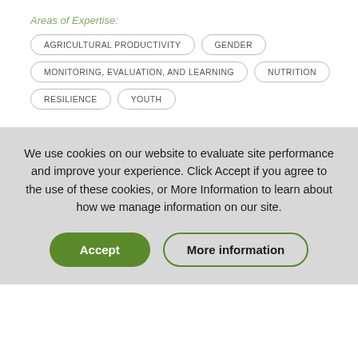Areas of Expertise:
AGRICULTURAL PRODUCTIVITY
GENDER
MONITORING, EVALUATION, AND LEARNING
NUTRITION
RESILIENCE
YOUTH
We use cookies on our website to evaluate site performance and improve your experience. Click Accept if you agree to the use of these cookies, or More Information to learn about how we manage information on our site.
Accept
More information